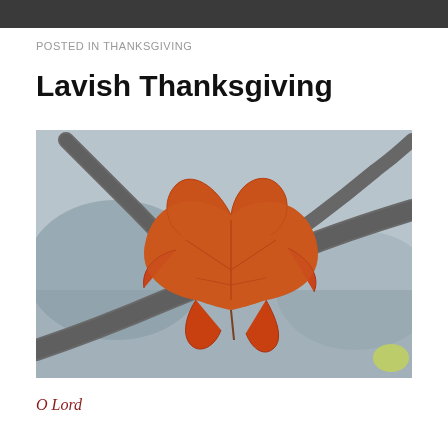POSTED IN THANKSGIVING
Lavish Thanksgiving
[Figure (photo): Close-up photograph of an orange/red autumn maple leaf caught between bare tree branches, with a blurred grey and green background suggesting an outdoor autumn setting.]
O Lord